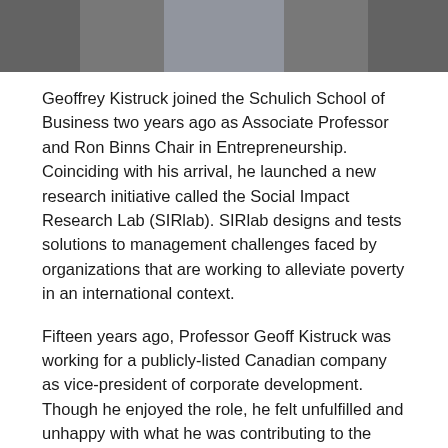[Figure (photo): Bottom portion of a photograph showing a man in a gray suit jacket with a light blue/white checked shirt, cropped at the top of the frame.]
Geoffrey Kistruck joined the Schulich School of Business two years ago as Associate Professor and Ron Binns Chair in Entrepreneurship. Coinciding with his arrival, he launched a new research initiative called the Social Impact Research Lab (SIRlab). SIRlab designs and tests solutions to management challenges faced by organizations that are working to alleviate poverty in an international context.
Fifteen years ago, Professor Geoff Kistruck was working for a publicly-listed Canadian company as vice-president of corporate development. Though he enjoyed the role, he felt unfulfilled and unhappy with what he was contributing to the world. Wanting to do more, he quit his job and returned to school to finish a PhD focusing on how businesses can contribute to solving some of society's